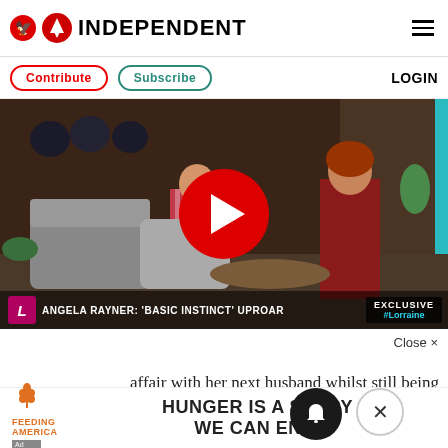INDEPENDENT
Contribute
Subscribe
LOGIN
[Figure (screenshot): Video thumbnail showing TV interview segment. Lower third reads: ANGELA RAYNER: 'BASIC INSTINCT' UPROAR with EXCLUSIVE #Lorraine branding. Large red circular play button in center.]
Close ×
affair with her next husband whilst still being married to her previous husband. Imagine if she had even left one husband whilst he was undergoing cancer treatment, even at one point
[Figure (infographic): Advertisement: Feeding America - HUNGER IS A STORY WE CAN END.]